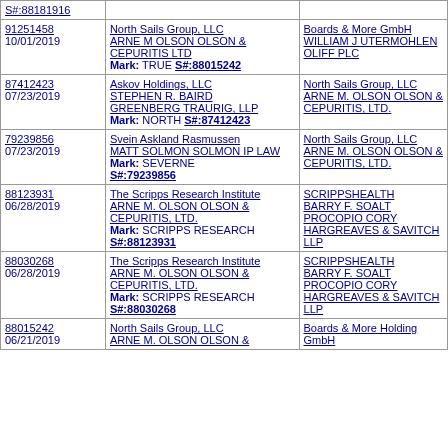| Serial / Date | Applicant / Attorney / Mark | Defendant / Attorney |
| --- | --- | --- |
| S#:88181916 |  |  |
| 91251458
10/01/2019 | North Sails Group, LLC
ARNE M OLSON OLSON & CEPURITIS LTD
Mark: TRUE S#:88015242 | Boards & More GmbH
WILLIAM J UTERMOHLEN
OLIFF PLC |
| 87412423
07/23/2019 | Askov Holdings, LLC
STEPHEN R. BAIRD
GREENBERG TRAURIG, LLP
Mark: NORTH S#:87412423 | North Sails Group, LLC
ARNE M. OLSON OLSON & CEPURITIS, LTD. |
| 79239856
07/23/2019 | Svein Askland Rasmussen
MATT SOLMON SOLMON IP LAW
Mark: SEVERNE S#:79239856 | North Sails Group, LLC
ARNE M. OLSON OLSON & CEPURITIS, LTD. |
| 88123931
06/28/2019 | The Scripps Research Institute
ARNE M. OLSON OLSON & CEPURITIS, LTD.
Mark: SCRIPPS RESEARCH S#:88123931 | SCRIPPSHEALTH
BARRY F. SOALT
PROCOPIO CORY HARGREAVES & SAVITCH LLP |
| 88030268
06/28/2019 | The Scripps Research Institute
ARNE M. OLSON OLSON & CEPURITIS, LTD.
Mark: SCRIPPS RESEARCH S#:88030268 | SCRIPPSHEALTH
BARRY F. SOALT
PROCOPIO CORY HARGREAVES & SAVITCH LLP |
| 88015242
06/21/2019 | North Sails Group, LLC
ARNE M. OLSON OLSON & | Boards & More Holding GmbH |